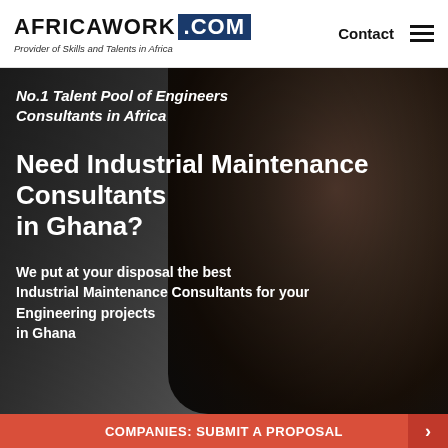AFRICAWORK .COM — Provider of Skills and Talents in Africa
No.1 Talent Pool of Engineers Consultants in Africa
Need Industrial Maintenance Consultants in Ghana?
We put at your disposal the best Industrial Maintenance Consultants for your Engineering projects in Ghana
COMPANIES: SUBMIT A PROPOSAL